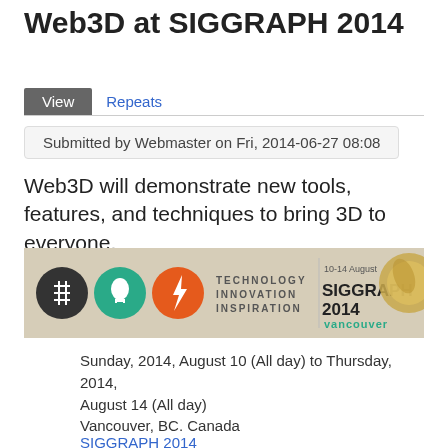Web3D at SIGGRAPH 2014
View  Repeats
Submitted by Webmaster on Fri, 2014-06-27 08:08
Web3D will demonstrate new tools, features, and techniques to bring 3D to everyone.
[Figure (illustration): SIGGRAPH 2014 banner with circular icons for Technology, Innovation, Inspiration and SIGGRAPH2014 Vancouver logo, 10-14 August]
Sunday, 2014, August 10 (All day) to Thursday, 2014, August 14 (All day)
Vancouver, BC. Canada
SIGGRAPH 2014
SIGGRAPH is the premier conference for computer graphics and interactive techniques. The Consortium will have a significant presence at SIGGRAPH 2014 to discuss and demonstrate work it is doing in 3D graphics supporting